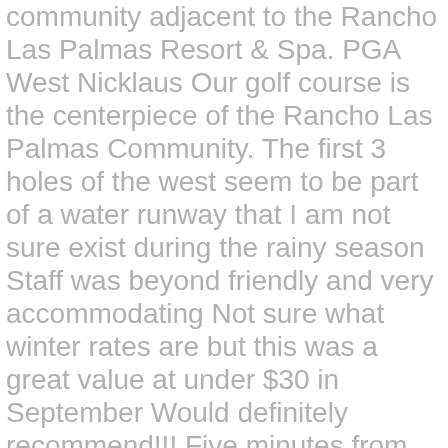community adjacent to the Rancho Las Palmas Resort & Spa. PGA West Nicklaus Our golf course is the centerpiece of the Rancho Las Palmas Community. The first 3 holes of the west seem to be part of a water runway that I am not sure exist during the rainy season Staff was beyond friendly and very accommodating Not sure what winter rates are but this was a great value at under $30 in September Would definitely recommend!!! Five minutes from The River complex, El Creative hole designs featuring strategic bunkering, towering palms, spectacular mountain vistas and exciting water hazards has made this a Palm Springs area favorite amongst both resort and seasoned golfers. Indian Palms Country Club Recreation amenities include: use of the Rancho Las Palmas Resort & Country Club with 27 hole golf course, 25 tennis courts all within the secure gated Rancho Las Palmas community. Creative hole designs featuring strategic bunkering